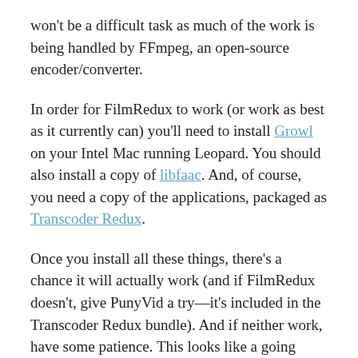won't be a difficult task as much of the work is being handled by FFmpeg, an open-source encoder/converter.
In order for FilmRedux to work (or work as best as it currently can) you'll need to install Growl on your Intel Mac running Leopard. You should also install a copy of libfaac. And, of course, you need a copy of the applications, packaged as Transcoder Redux.
Once you install all these things, there's a chance it will actually work (and if FilmRedux doesn't, give PunyVid a try—it's included in the Transcoder Redux bundle). And if neither work, have some patience. This looks like a going concern and one that will be huge boon to the Mac community.